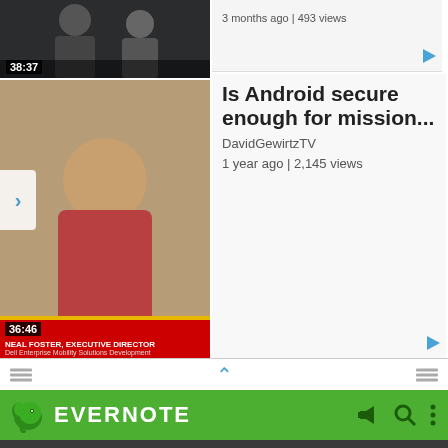[Figure (screenshot): Top video thumbnail showing two people, timestamp 38:37]
[Figure (screenshot): Bottom video thumbnail showing news broadcast with Neal Foster, Executive Director, Dell Enterprise Mobility Solutions Development, timestamp 36:46]
3 months ago | 493 views
Is Android secure enough for mission...
DavidGewirtzTV
1 year ago | 2,145 views
[Figure (screenshot): Evernote Android app interface showing navigation menu with Notes 3330, Notebooks 45, Tags 100, Places 1, and a partially visible right panel with JULY heading and article snippets]